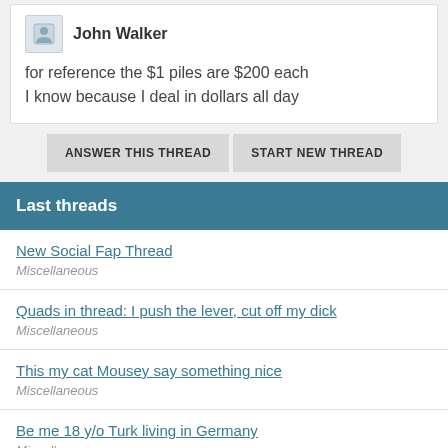John Walker
for reference the $1 piles are $200 each
I know because I deal in dollars all day
ANSWER THIS THREAD
START NEW THREAD
Last threads
New Social Fap Thread
Miscellaneous
Quads in thread: I push the lever, cut off my dick
Miscellaneous
This my cat Mousey say something nice
Miscellaneous
Be me 18 y/o Turk living in Germany
Miscellaneous